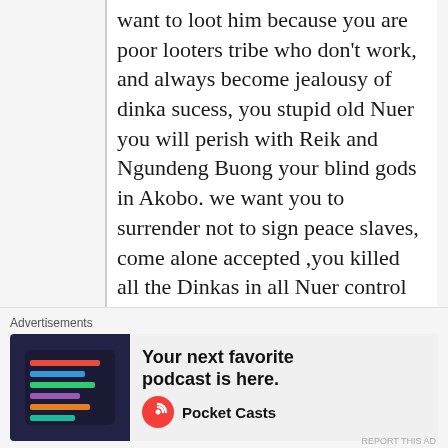want to loot him because you are poor looters tribe who don't work, and always become jealousy of dinka sucess, you stupid old Nuer you will perish with Reik and Ngundeng Buong your blind gods in Akobo. we want you to surrender not to sign peace slaves, come alone accepted ,you killed all the Dinkas in all Nuer control areas even children, No problem you want Dinka to recognize you as killer, to be intimidated , If you finish Uganda army ,we will bring Kenya Army ,to finish criminal tribes, all Nuer in Juba are
Advertisements
[Figure (infographic): Advertisement banner for Pocket Casts podcast app. Shows app screenshot on dark background on left, text 'Your next favorite podcast is here.' with Pocket Casts logo and name on right.]